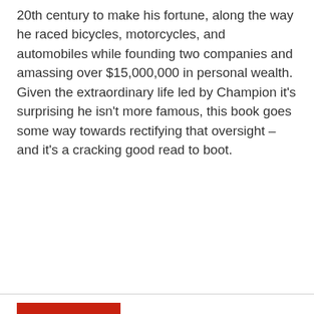20th century to make his fortune, along the way he raced bicycles, motorcycles, and automobiles while founding two companies and amassing over $15,000,000 in personal wealth. Given the extraordinary life led by Champion it's surprising he isn't more famous, this book goes some way towards rectifying that oversight – and it's a cracking good read to boot.
BUY HERE